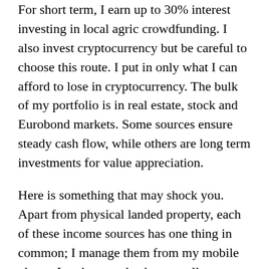For short term, I earn up to 30% interest investing in local agric crowdfunding. I also invest cryptocurrency but be careful to choose this route. I put in only what I can afford to lose in cryptocurrency. The bulk of my portfolio is in real estate, stock and Eurobond markets. Some sources ensure steady cash flow, while others are long term investments for value appreciation.
Here is something that may shock you. Apart from physical landed property, each of these income sources has one thing in common; I manage them from my mobile phone. In other words, they are all technology driven and you can do them from your Smartphone. From US stock investment to US real estate, Eurobond, crowdfunding, I